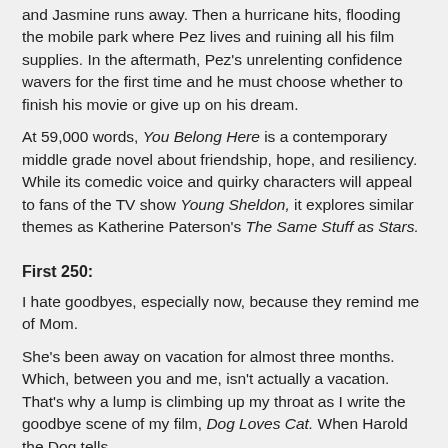and Jasmine runs away. Then a hurricane hits, flooding the mobile park where Pez lives and ruining all his film supplies. In the aftermath, Pez's unrelenting confidence wavers for the first time and he must choose whether to finish his movie or give up on his dream.
At 59,000 words, You Belong Here is a contemporary middle grade novel about friendship, hope, and resiliency. While its comedic voice and quirky characters will appeal to fans of the TV show Young Sheldon, it explores similar themes as Katherine Paterson's The Same Stuff as Stars.
First 250:
I hate goodbyes, especially now, because they remind me of Mom.
She's been away on vacation for almost three months. Which, between you and me, isn't actually a vacation. That's why a lump is climbing up my throat as I write the goodbye scene of my film, Dog Loves Cat. When Harold the Dog tells